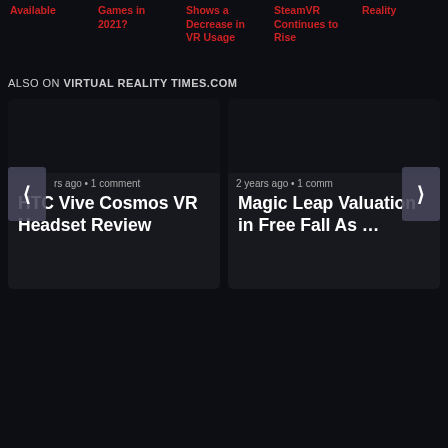Available | Games in 2021? | Shows a Decrease in VR Usage | SteamVR Continues to Rise | Reality
ALSO ON VIRTUAL REALITY TIMES.COM
[Figure (screenshot): Carousel card showing HTC Vive Cosmos VR Headset Review article, with dark image area, '...rs ago • 1 comment' meta, and white bold title text. Left arrow navigation visible.]
[Figure (screenshot): Carousel card showing Magic Leap Valuation in Free Fall As ... article, with dark image area, '2 years ago • 1 comm' meta, and white bold title text. Right arrow navigation visible.]